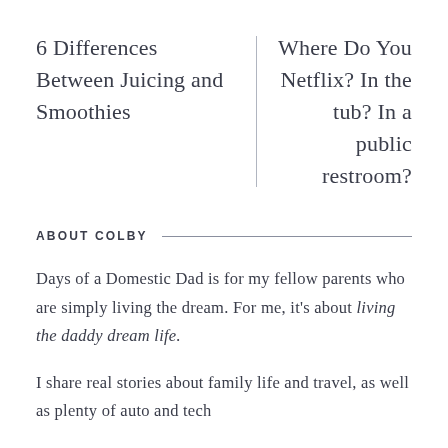6 Differences Between Juicing and Smoothies
Where Do You Netflix? In the tub? In a public restroom?
ABOUT COLBY
Days of a Domestic Dad is for my fellow parents who are simply living the dream. For me, it's about living the daddy dream life.
I share real stories about family life and travel, as well as plenty of auto and tech